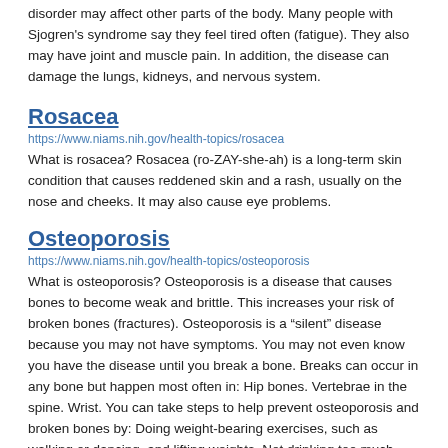disorder may affect other parts of the body. Many people with Sjogren's syndrome say they feel tired often (fatigue). They also may have joint and muscle pain. In addition, the disease can damage the lungs, kidneys, and nervous system.
Rosacea
https://www.niams.nih.gov/health-topics/rosacea
What is rosacea? Rosacea (ro-ZAY-she-ah) is a long-term skin condition that causes reddened skin and a rash, usually on the nose and cheeks. It may also cause eye problems.
Osteoporosis
https://www.niams.nih.gov/health-topics/osteoporosis
What is osteoporosis? Osteoporosis is a disease that causes bones to become weak and brittle. This increases your risk of broken bones (fractures). Osteoporosis is a “silent” disease because you may not have symptoms. You may not even know you have the disease until you break a bone. Breaks can occur in any bone but happen most often in: Hip bones. Vertebrae in the spine. Wrist. You can take steps to help prevent osteoporosis and broken bones by: Doing weight-bearing exercises, such as walking or dancing, and lifting weights. Not drinking too much alcohol. Quitting smoking, or not starting if.